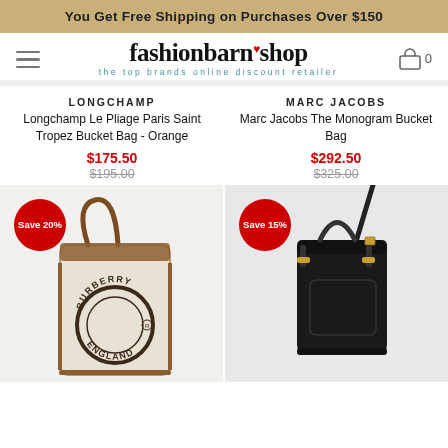You Get Free Shipping on Purchases Over $150
[Figure (logo): fashionbarn shop logo with tagline 'the top brands online discount retailer']
LONGCHAMP
Longchamp Le Pliage Paris Saint Tropez Bucket Bag - Orange
$175.50
$195.00
MARC JACOBS
Marc Jacobs The Monogram Bucket Bag
$292.50
$325.00
[Figure (photo): Burberry bucket bag in cream/beige canvas with brown leather trim, Save 20% badge]
[Figure (photo): Black leather bucket bag with crossbody strap and gold hardware, Save 15% badge]